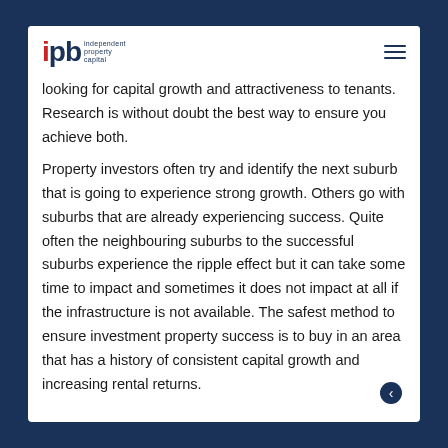ipb independent property capital
looking for capital growth and attractiveness to tenants. Research is without doubt the best way to ensure you achieve both.
Property investors often try and identify the next suburb that is going to experience strong growth. Others go with suburbs that are already experiencing success. Quite often the neighbouring suburbs to the successful suburbs experience the ripple effect but it can take some time to impact and sometimes it does not impact at all if the infrastructure is not available. The safest method to ensure investment property success is to buy in an area that has a history of consistent capital growth and increasing rental returns.